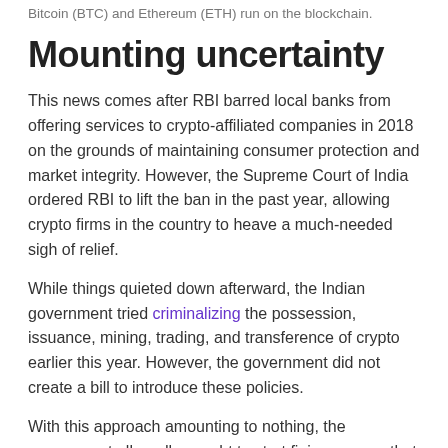Bitcoin (BTC) and Ethereum (ETH) run on the blockchain.
Mounting uncertainty
This news comes after RBI barred local banks from offering services to crypto-affiliated companies in 2018 on the grounds of maintaining consumer protection and market integrity. However, the Supreme Court of India ordered RBI to lift the ban in the past year, allowing crypto firms in the country to heave a much-needed sigh of relief.
While things quieted down afterward, the Indian government tried criminalizing the possession, issuance, mining, trading, and transference of crypto earlier this year. However, the government did not create a bill to introduce these policies.
With this approach amounting to nothing, the government allegedly sought to start fining anyone that holds crypto in India. However, these fines have not yet materialized,